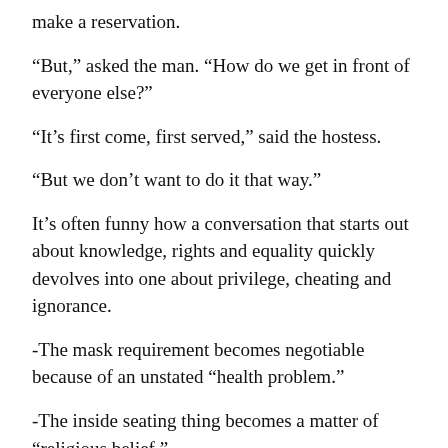make a reservation.
“But,” asked the man. “How do we get in front of everyone else?”
“It’s first come, first served,” said the hostess.
“But we don’t want to do it that way.”
It’s often funny how a conversation that starts out about knowledge, rights and equality quickly devolves into one about privilege, cheating and ignorance.
-The mask requirement becomes negotiable because of an unstated “health problem.”
-The inside seating thing becomes a matter of “religious belief.”
-The emotional support animal quickly becomes an unverifiable “service” dog.
Jan Black once asked me in a podcast interview, what